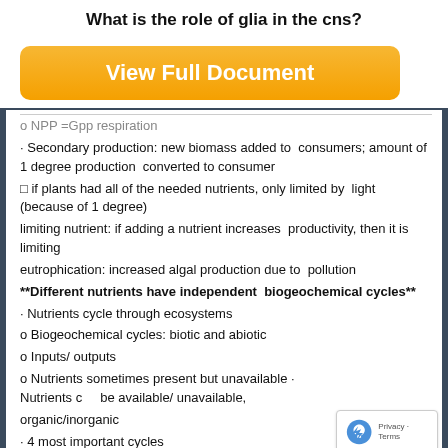What is the role of glia in the cns?
[Figure (other): Orange 'View Full Document' button]
o NPP =Gpp respiration
· Secondary production: new biomass added to consumers; amount of 1 degree production converted to consumer
□ if plants had all of the needed nutrients, only limited by light (because of 1 degree)
limiting nutrient: if adding a nutrient increases productivity, then it is limiting
eutrophication: increased algal production due to pollution
**Different nutrients have independent biogeochemical cycles**
· Nutrients cycle through ecosystems
o Biogeochemical cycles: biotic and abiotic
o Inputs/ outputs
o Nutrients sometimes present but unavailable · Nutrients can be available/ unavailable, organic/inorganic
· 4 most important cycles